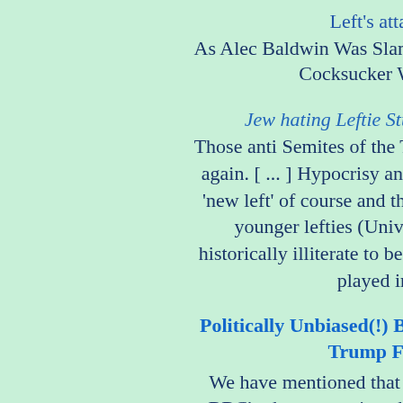Left's attachment to hate and hype
As Alec Baldwin Was Slammed For Saying Cock – Cocksucker Was Praised For His Hate
Jew hating Leftie Students Union In New Anti
Those anti Semites of the The National Union of St again. [ ... ] Hypocrisy and double standards are th 'new left' of course and the anti – Semitism of Lab younger lefties (University dumbed down airh historically illiterate to be aware of the role Britain played in establishing the Labour
Politically Unbiased(!) BBC Launches Left Win Trump For Illegal Immigrants S
We have mentioned that the terms of publicly fun BBC's charter requires that it be completely fair a